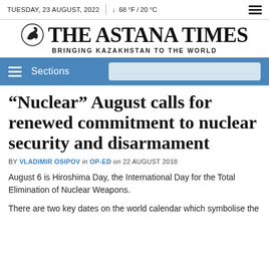TUESDAY, 23 AUGUST, 2022  |  ↓ 68 °F / 20 °C
THE ASTANA TIMES — BRINGING KAZAKHSTAN TO THE WORLD
Sections
“Nuclear” August calls for renewed commitment to nuclear security and disarmament
BY VLADIMIR OSIPOV in OP-ED on 22 AUGUST 2018
August 6 is Hiroshima Day, the International Day for the Total Elimination of Nuclear Weapons.
There are two key dates on the world calendar which symbolise the